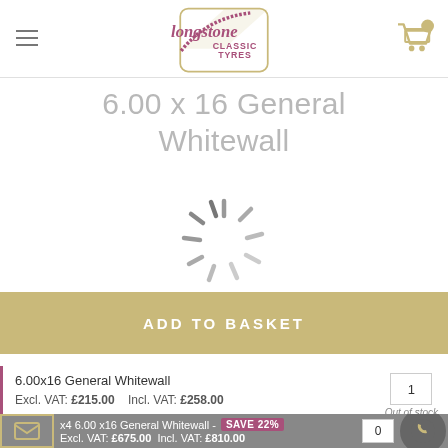Longstone Classic Tyres — navigation header with hamburger menu and shopping cart
6.00 x 16 General Whitewall
[Figure (other): Loading spinner icon (grey radial lines)]
ADD TO BASKET
| Product | Qty |
| --- | --- |
| 6.00x16 General Whitewall
Excl. VAT: £215.00   Incl. VAT: £258.00 | 1
Out of stock |
x4 6.00 x16 General Whitewall - SAVE 22%
Excl. VAT: £675.00   Incl. VAT: £810.00
Email and phone contact icons